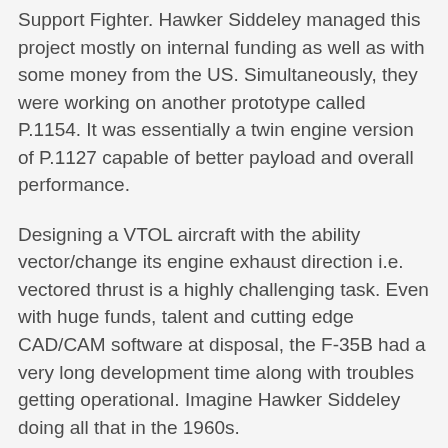Support Fighter. Hawker Siddeley managed this project mostly on internal funding as well as with some money from the US. Simultaneously, they were working on another prototype called P.1154. It was essentially a twin engine version of P.1127 capable of better payload and overall performance.
Designing a VTOL aircraft with the ability vector/change its engine exhaust direction i.e. vectored thrust is a highly challenging task. Even with huge funds, talent and cutting edge CAD/CAM software at disposal, the F-35B had a very long development time along with troubles getting operational. Imagine Hawker Siddeley doing all that in the 1960s.